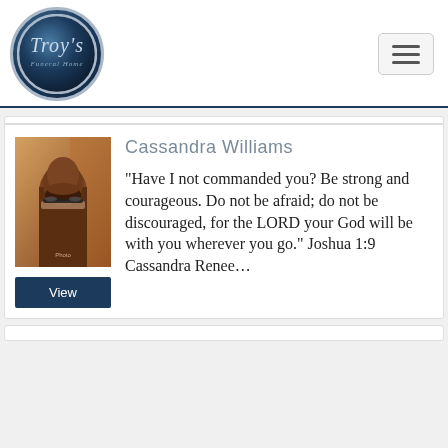[Figure (logo): Troy's Funeral Home circular logo with silver border and dark blue background with italic script text]
Cassandra Williams
“Have I not commanded you? Be strong and courageous. Do not be afraid; do not be discouraged, for the LORD your God will be with you wherever you go.” Joshua 1:9 Cassandra Renee…
[Figure (photo): Portrait photo of Cassandra Williams, a Black woman wearing glasses, smiling]